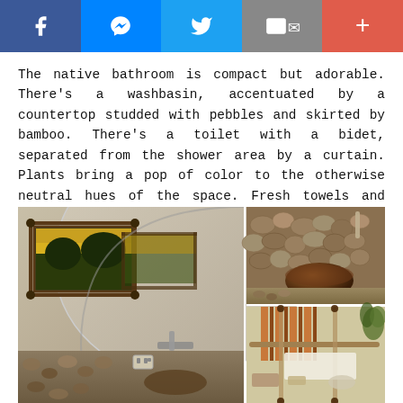[Figure (other): Social media share bar with Facebook, Messenger, Twitter, Email, and Plus buttons]
The native bathroom is compact but adorable. There's a washbasin, accentuated by a countertop studded with pebbles and skirted by bamboo. There's a toilet with a bidet, separated from the shower area by a curtain. Plants bring a pop of color to the otherwise neutral hues of the space. Fresh towels and toiletries are provided.
[Figure (photo): Photo collage of a native-style bathroom showing: large left photo with mirror and painting on wall above stone sink; top-right photo showing stone-studded wall with brown bowl sink; bottom-right photo showing copper/bamboo bathroom fixtures and fittings]